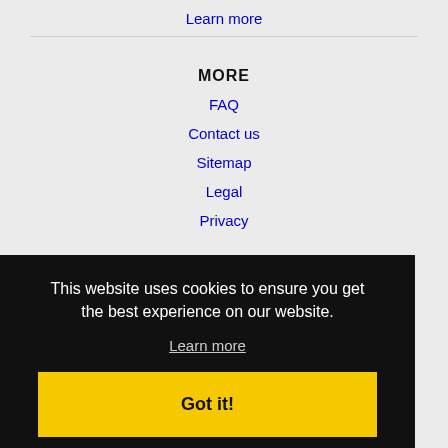Learn more
MORE
FAQ
Contact us
Sitemap
Legal
Privacy
This website uses cookies to ensure you get the best experience on our website.
Learn more
Got it!
TX Jobs
Lawton, OK Jobs
ille, TX Jobs